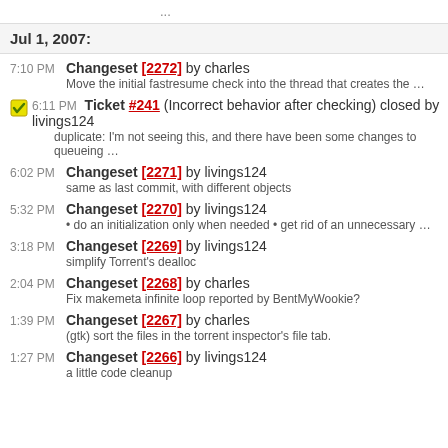...
Jul 1, 2007:
7:10 PM Changeset [2272] by charles — Move the initial fastresume check into the thread that creates the ...
6:11 PM Ticket #241 (Incorrect behavior after checking) closed by livings124 — duplicate: I'm not seeing this, and there have been some changes to queueing ...
6:02 PM Changeset [2271] by livings124 — same as last commit, with different objects
5:32 PM Changeset [2270] by livings124 — do an initialization only when needed • get rid of an unnecessary ...
3:18 PM Changeset [2269] by livings124 — simplify Torrent's dealloc
2:04 PM Changeset [2268] by charles — Fix makemeta infinite loop reported by BentMyWookie?
1:39 PM Changeset [2267] by charles — (gtk) sort the files in the torrent inspector's file tab.
1:27 PM Changeset [2266] by livings124 — a little code cleanup